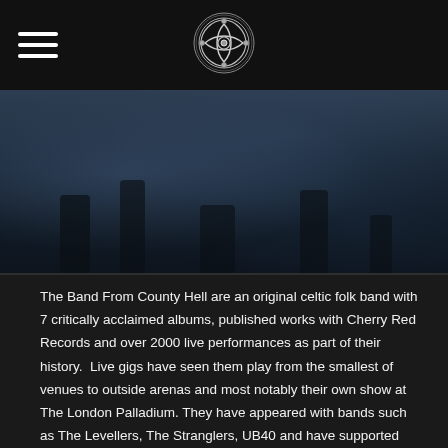The Band From County Hell – navigation header with logo
[Figure (photo): Dark moody concert or band photo, predominantly dark blue and black tones, showing silhouettes of people against a dark background]
The Band From County Hell are an original celtic folk band with 7 critically acclaimed albums, published works with Cherry Red Records and over 2000 live performances as part of their history. Live gigs have seen them play from the smallest of venues to outside arenas and most notably their own show at The London Palladium. They have appeared with bands such as The Levellers, The Stranglers, UB40 and have supported Stiff Little Fingers, Hayseed Dixie, The Beat and most